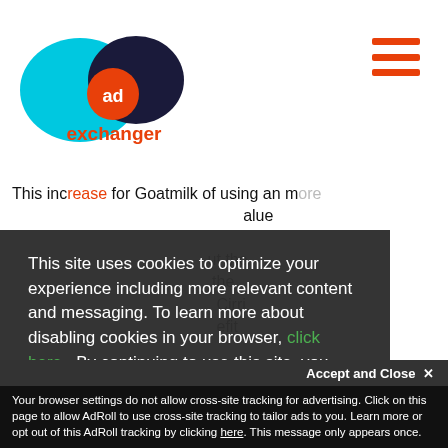[Figure (logo): AdExchanger logo with cyan and dark blue overlapping ovals, orange 'ad' circle, orange 'exchanger' text]
This site uses cookies to optimize your experience including more relevant content and messaging. To learn more about disabling cookies in your browser, click here. By continuing to use this site, you accept our use of cookies. For more information, view our updated Privacy Policy.
Your browser settings do not allow cross-site tracking for advertising. Click on this page to allow AdRoll to use cross-site tracking to tailor ads to you. Learn more or opt out of this AdRoll tracking by clicking here. This message only appears once.